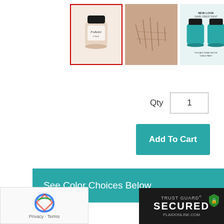[Figure (photo): Three product thumbnails: first selected (chalk paint jar, red border), second (texture swatch), third (two paint jars with text 'New Look Same Great Paint')]
Qty  1
Add To Cart
See Color Choices Below
$9.99
Transform your home decor with the versatility of FolkArt Home Decor Chalk. This ultra-matte chalk finish acrylic provides a rich, highly pigmented color that provides long-lasting beauty to all your upcycled projects. This paint requires minimal surface prep, is easy to